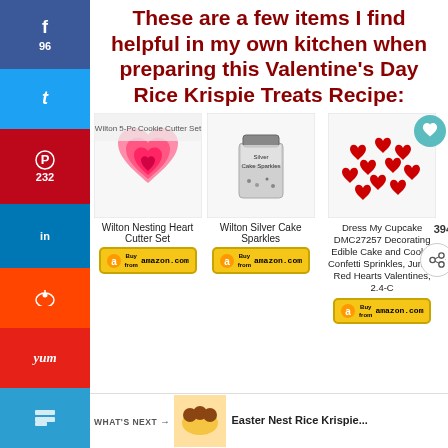These are a few items I find helpful in my own kitchen when preparing this Valentine's Day Rice Krispie Treats Recipe:
[Figure (photo): Social media share sidebar with Facebook (96), Twitter, Pinterest (232), LinkedIn, Reddit, Yummly, Buffer buttons and 328 SHARES counter]
[Figure (photo): Wilton Nesting Heart Cutter Set product image showing pink nested heart cookie cutters]
Wilton Nesting Heart Cutter Set
[Figure (photo): Amazon Buy from amazon.com button for Wilton Nesting Heart Cutter Set]
[Figure (photo): Wilton Silver Cake Sparkles product image showing small jar of silver sprinkles]
Wilton Silver Cake Sparkles
[Figure (photo): Amazon Buy from amazon.com button for Wilton Silver Cake Sparkles]
[Figure (photo): Dress My Cupcake DMC27257 Decorating Edible Cake and Cookie Confetti Sprinkles product image showing red heart sprinkles]
Dress My Cupcake DMC27257 Decorating Edible Cake and Cookie Confetti Sprinkles, Jumbo Red Hearts Valentines, 2.4-C
[Figure (screenshot): What's Next banner showing Easter Nest Rice Krispie... with thumbnail image]